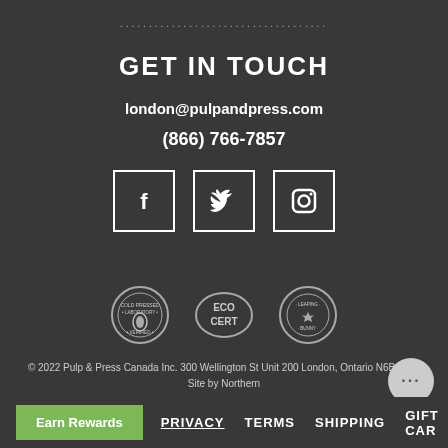...................................
GET IN TOUCH
london@pulpandpress.com
(866) 766-7857
[Figure (illustration): Three social media icons in white square borders: Facebook (f), Twitter (bird), Instagram (camera)]
[Figure (illustration): Three certification badges: Cold Pressed, Eco Cert, and a Canadian certification badge]
© 2022 Pulp & Press Canada Inc. 300 Wellington St Unit 200 London, Ontario N6B 2L5 | Site by Northern
PRIVACY  TERMS  SHIPPING  GIFT CAR...
Earn Rewards